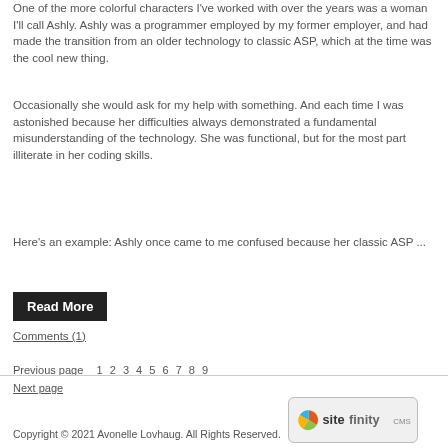One of the more colorful characters I've worked with over the years was a woman I'll call Ashly. Ashly was a programmer employed by my former employer, and had made the transition from an older technology to classic ASP, which at the time was the cool new thing.
Occasionally she would ask for my help with something. And each time I was astonished because her difficulties always demonstrated a fundamental misunderstanding of the technology. She was functional, but for the most part illiterate in her coding skills.
Here's an example: Ashly once came to me confused because her classic ASP ...
Read More
Comments (1)
Previous page  1  2  3  4  5  6  7  8  9
Next page
Copyright © 2021 Avonelle Lovhaug. All Rights Reserved.